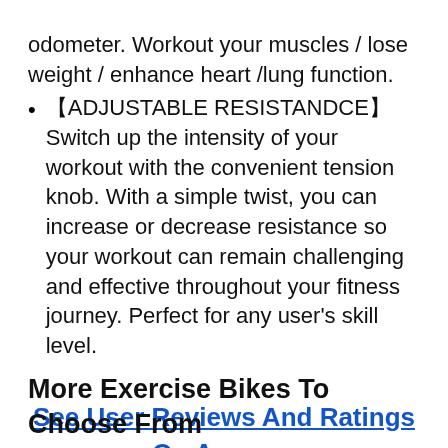odometer. Workout your muscles / lose weight / enhance heart /lung function.
【ADJUSTABLE RESISTANDCE】Switch up the intensity of your workout with the convenient tension knob. With a simple twist, you can increase or decrease resistance so your workout can remain challenging and effective throughout your fitness journey. Perfect for any user's skill level.
See User Reviews And Ratings On Amazon
More Exercise Bikes To Choose From